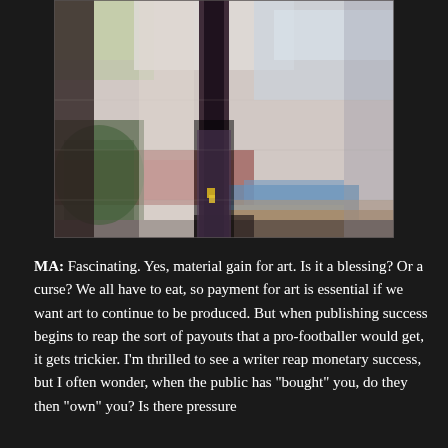[Figure (illustration): Abstract mixed-media artwork depicting a dark vertical form (tree or figure) in the center against a layered background of muted colors including purple, white, green, brown, red, blue, and gray tones with newspaper collage texture.]
MA: Fascinating. Yes, material gain for art. Is it a blessing? Or a curse? We all have to eat, so payment for art is essential if we want art to continue to be produced. But when publishing success begins to reap the sort of payouts that a pro-footballer would get, it gets trickier. I'm thrilled to see a writer reap monetary success, but I often wonder, when the public has "bought" you, do they then "own" you? Is there pressure